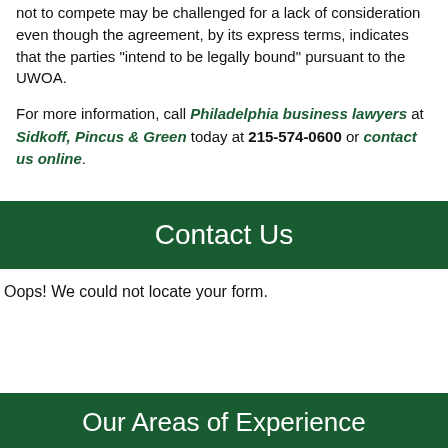not to compete may be challenged for a lack of consideration even though the agreement, by its express terms, indicates that the parties “intend to be legally bound” pursuant to the UWOA.
For more information, call Philadelphia business lawyers at Sidkoff, Pincus & Green today at 215-574-0600 or contact us online.
Contact Us
Oops! We could not locate your form.
Our Areas of Experience